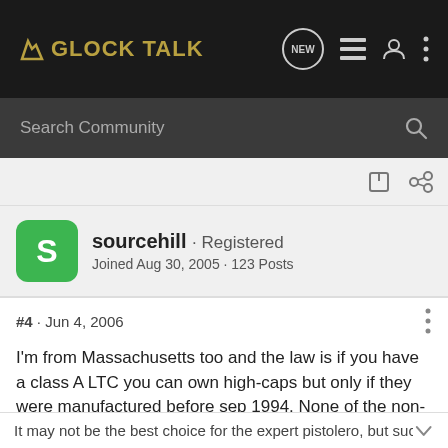GLOCK TALK
Search Community
sourcehill · Registered
Joined Aug 30, 2005 · 123 Posts
#4 · Jun 4, 2006
I'm from Massachusetts too and the law is if you have a class A LTC you can own high-caps but only if they were manufactured before sep 1994. None of the non-LE marked brand new high caps for Glocks are legal in Mass. Just a heads up. I have some pre-ban 13 rounds for the G21 if you're interested.
It may not be the best choice for the expert pistolero, but such